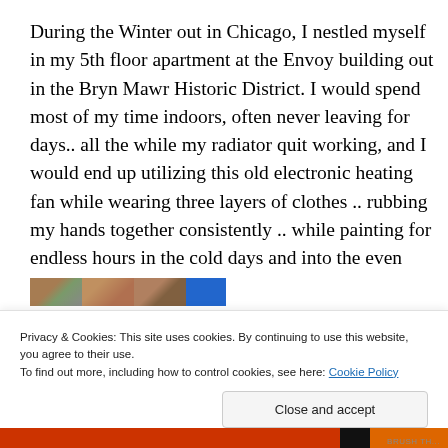During the Winter out in Chicago, I nestled myself in my 5th floor apartment at the Envoy building out in the Bryn Mawr Historic District. I would spend most of my time indoors, often never leaving for days.. all the while my radiator quit working, and I would end up utilizing this old electronic heating fan while wearing three layers of clothes .. rubbing my hands together consistently .. while painting for endless hours in the cold days and into the even colder nights.
[Figure (photo): Partial image strip showing several thumbnail photos and a blue rectangle, partially visible at the bottom of the main content area]
Privacy & Cookies: This site uses cookies. By continuing to use this website, you agree to their use.
To find out more, including how to control cookies, see here: Cookie Policy
Close and accept